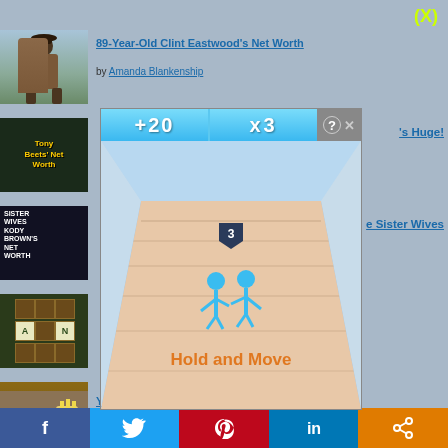[Figure (screenshot): Close button (X) top right corner, yellow-green color]
[Figure (photo): Thumbnail of Clint Eastwood standing outdoors]
89-Year-Old Clint Eastwood's Net Worth
by Amanda Blankenship
[Figure (photo): Thumbnail with text Tony Beets' Net Worth]
[Figure (screenshot): Mobile game ad overlay showing bowling alley with +20 and x3 buttons, 'Hold and Move' instruction, blue stick figure characters]
's Huge!
[Figure (photo): Thumbnail Sister Wives Kody Brown's Net Worth]
e Sister Wives
[Figure (screenshot): Word game thumbnail with grid of letter tiles]
[Figure (photo): Thumbnail of food - burger and fries]
YouTube Sam the Cooking Guy's Net Worth
by Amanda Blankenship
[Figure (infographic): Social sharing bar with Facebook, Twitter, Pinterest, LinkedIn, and share icons]